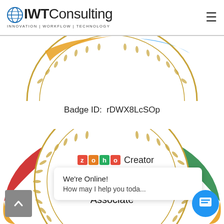OIWTConsulting INNOVATION | WORKFLOW | TECHNOLOGY
[Figure (illustration): Top portion of a circular certification badge with gold laurel wreath border and colorful (orange, blue) ribbon around the edge]
Badge ID:  rDWX8LcSOp
[Figure (illustration): Zoho Creator Certified Developer Associate certification badge - circular with gold laurel wreath, colorful (red, green, yellow, blue) wavy ribbon border, Zoho logo, and text 'Certified Developer Associate']
We're Online!
How may I help you toda...